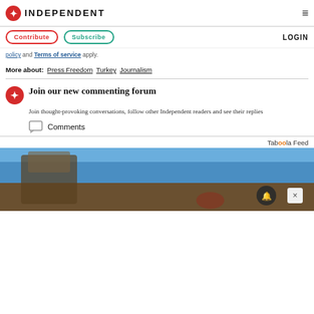INDEPENDENT
Contribute  Subscribe  LOGIN
policy and Terms of service apply.
More about: Press Freedom Turkey Journalism
Join our new commenting forum
Join thought-provoking conversations, follow other Independent readers and see their replies
Comments
Taboola Feed
[Figure (photo): Outdoor scene with a statue/monument and a person, blue sky background. Notification bell button and close button overlaid.]